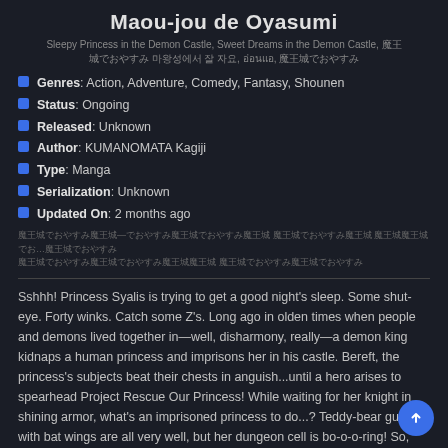Maou-jou de Oyasumi
Sleepy Princess in the Demon Castle, Sweet Dreams in the Demon Castle, 魔王城でおやすみ, 마왕성에서 잘 자요, อ่อนแอ, 魔王城
Genres: Action, Adventure, Comedy, Fantasy, Shounen
Status: Ongoing
Released: Unknown
Author: KUMANOMATA Kagiji
Type: Manga
Serialization: Unknown
Updated On: 2 months ago
[Japanese text block]
Sshhh! Princess Syalis is trying to get a good night's sleep. Some shut-eye. Forty winks. Catch some Z's. Long ago in olden times when people and demons lived together in—well, disharmony, really—a demon king kidnaps a human princess and imprisons her in his castle. Bereft, the princess's subjects beat their chests in anguish...until a hero arises to spearhead Project Rescue Our Princess! While waiting for her knight in shining armor, what's an imprisoned princess to do...? Teddy-bear guards with bat wings are all very well, but her dungeon cell is bo-o-o-ring! So, she decides to wile away the long